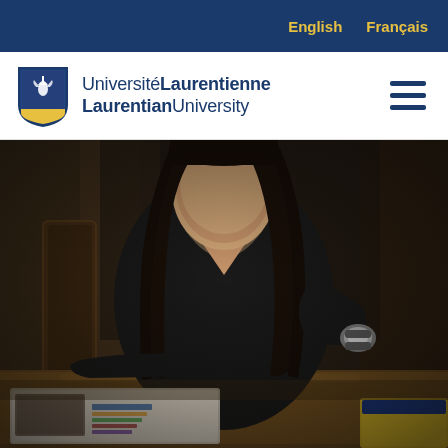English   Français
[Figure (logo): Université Laurentienne / Laurentian University shield logo with bilingual text]
[Figure (photo): Woman with long dark hair wearing a black top, seated at a wooden table with papers and books in the foreground, photographed in a dimly lit indoor setting]